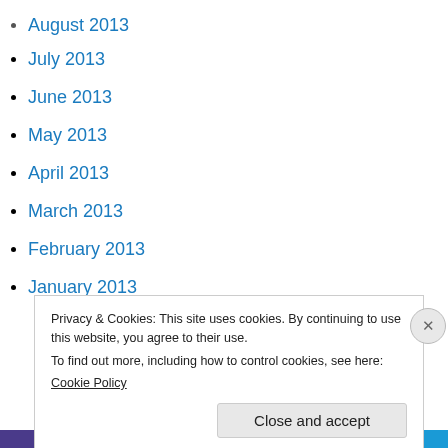August 2013
July 2013
June 2013
May 2013
April 2013
March 2013
February 2013
January 2013
December 2012
November 2012
October 2012
Privacy & Cookies: This site uses cookies. By continuing to use this website, you agree to their use.
To find out more, including how to control cookies, see here:
Cookie Policy
Close and accept